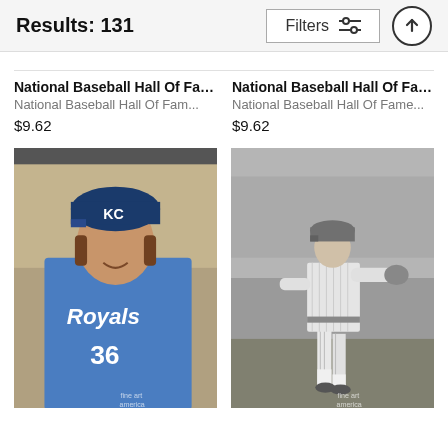Results: 131
Filters
National Baseball Hall Of Fam...
National Baseball Hall Of Fam...
$9.62
National Baseball Hall Of Fame...
National Baseball Hall Of Fame...
$9.62
[Figure (photo): Man in Kansas City Royals blue jersey number 36 sitting in dugout wearing KC cap, smiling]
[Figure (photo): Black and white vintage photo of baseball player in pinstripe uniform pitching or throwing on a baseball field]